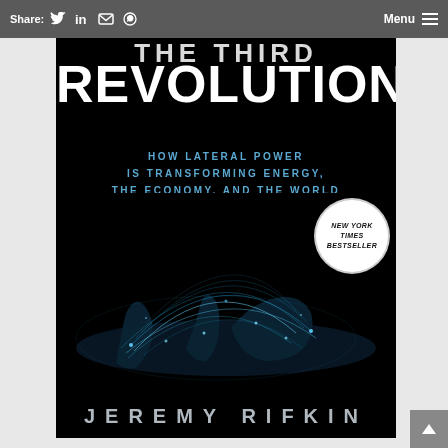Share: [Twitter] [LinkedIn] [Email] [WhatsApp]    Menu ☰
[Figure (photo): Book cover of 'The Third Industrial Revolution' by Jeremy Rifkin. Black background with large white bold text 'REVOLUTION', partially cut off title at top, blue subtitle text 'HOW LATERAL POWER IS TRANSFORMING ENERGY, THE ECONOMY, AND THE WORLD', a glowing blue network map of the world with interconnecting arc lines, a circular 'NEW YORK TIMES BESTSELLER' badge, and author name 'JEREMY RIFKIN' at the bottom in large spaced grey letters.]